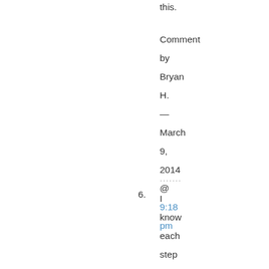this.
Comment by Bryan H. — March 9, 2014 @ 9:18 pm
......
6. I know each step has the common designations, but it seems to me